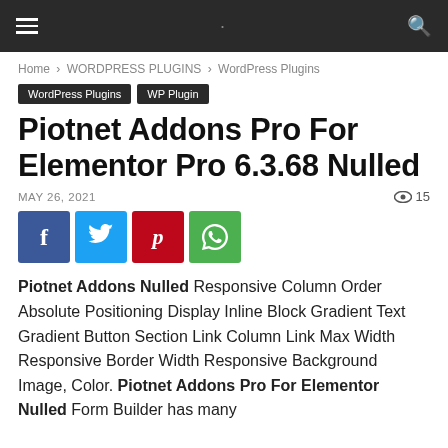Navigation bar with hamburger menu and search icon
Home › WORDPRESS PLUGINS › WordPress Plugins
WordPress Plugins  WP Plugin
Piotnet Addons Pro For Elementor Pro 6.3.68 Nulled
MAY 26, 2021   👁 15
[Figure (other): Social share buttons: Facebook, Twitter, Pinterest, WhatsApp]
Piotnet Addons Nulled Responsive Column Order Absolute Positioning Display Inline Block Gradient Text Gradient Button Section Link Column Link Max Width Responsive Border Width Responsive Background Image, Color. Piotnet Addons Pro For Elementor Nulled Form Builder has many